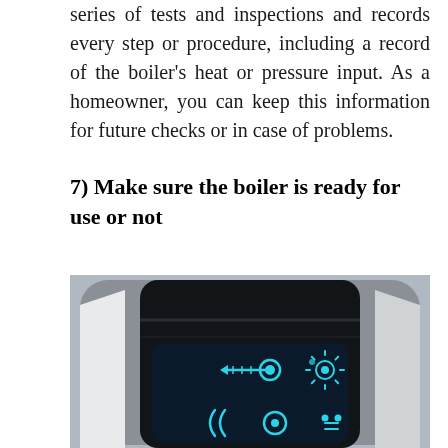series of tests and inspections and records every step or procedure, including a record of the boiler's heat or pressure input. As a homeowner, you can keep this information for future checks or in case of problems.
7) Make sure the boiler is ready for use or not
[Figure (photo): Close-up photo of a modern boiler control panel with a dark display screen showing temperature/thermometer and sun/brightness icons with blue LED indicators, set in a grey and white casing.]